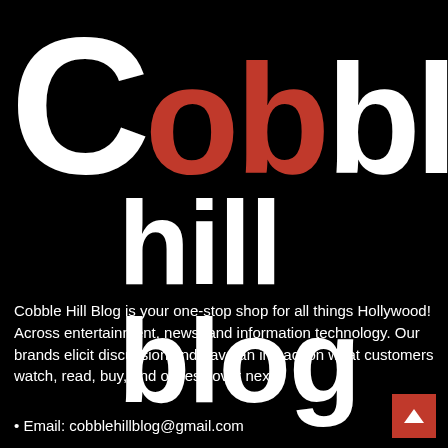[Figure (logo): Cobble Hill Blog logo: large white 'C' followed by red 'ob' and white 'ble' on first line, then 'hill blog' in white below, all on black background]
Cobble Hill Blog is your one-stop shop for all things Hollywood! Across entertainment, news, and information technology. Our brands elicit discussion and have an impact on what customers watch, read, buy, and obsess over next.
• Email: cobblehillblog@gmail.com